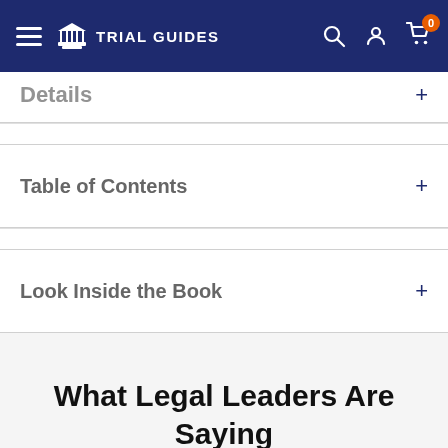Trial Guides — navigation bar with hamburger menu, logo, search, account, cart (0)
Details +
Table of Contents +
Look Inside the Book +
What Legal Leaders Are Saying